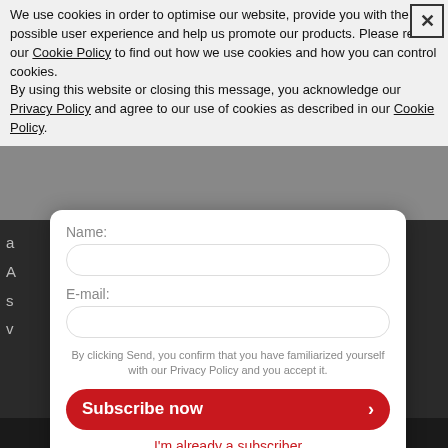We use cookies in order to optimise our website, provide you with the best possible user experience and help us promote our products. Please read our Cookie Policy to find out how we use cookies and how you can control cookies.
By using this website or closing this message, you acknowledge our Privacy Policy and agree to our use of cookies as described in our Cookie Policy.
[Figure (screenshot): Subscription modal form with Name and E-mail fields, Subscribe now button, and 'I'm already a subscriber' link. Background shows partial dark website content.]